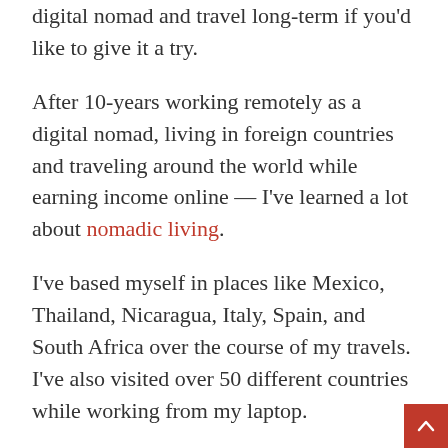digital nomad and travel long-term if you’d like to give it a try.
After 10-years working remotely as a digital nomad, living in foreign countries and traveling around the world while earning income online — I’ve learned a lot about nomadic living.
I’ve based myself in places like Mexico, Thailand, Nicaragua, Italy, Spain, and South Africa over the course of my travels. I’ve also visited over 50 different countries while working from my laptop.
In fact, I’m currently writing this article from a Greek island overlooking the sea. No, I’m not a toddler. That’s my son above fact-checking my work!